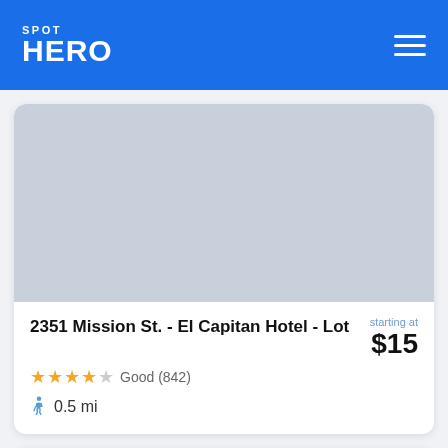SPOT HERO
[Figure (photo): Gray placeholder image for parking lot photo]
2351 Mission St. - El Capitan Hotel - Lot  starting at $15  Good (842)  0.5 mi
[Figure (photo): Gray placeholder image for second parking lot listing (partially visible)]